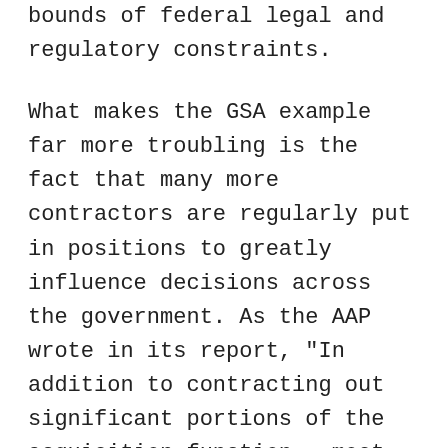bounds of federal legal and regulatory constraints.
What makes the GSA example far more troubling is the fact that many more contractors are regularly put in positions to greatly influence decisions across the government. As the AAP wrote in its report, "In addition to contracting out significant portions of the acquisition function...most, if not all, agencies have contracted out major portions of their information technology and communications functions. Moreover, some agencies have contracted